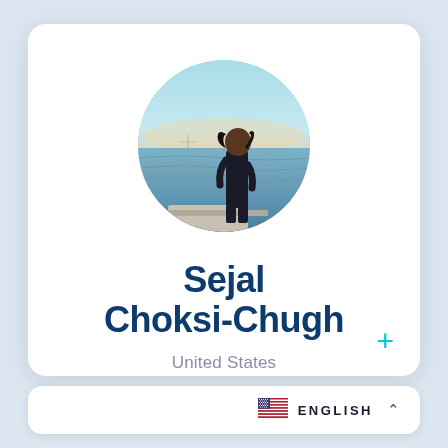[Figure (photo): Circular profile photo of a woman standing by waterfront at dusk, with ocean and bridge in background]
Sejal Choksi-Chugh
United States
+
ENGLISH